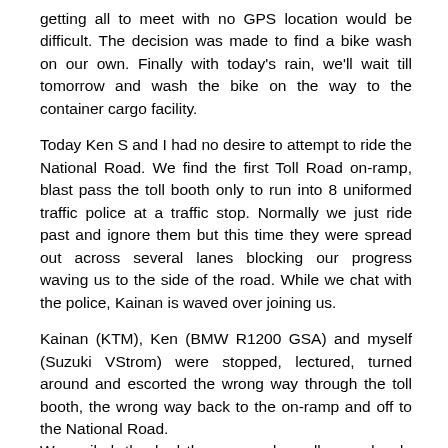getting all to meet with no GPS location would be difficult.  The decision was made to find a bike wash on our own.  Finally with today's rain, we'll wait till tomorrow and wash the bike on the way to the container cargo facility.
Today Ken S and I had no desire to attempt to ride the National Road.  We find the first Toll Road on-ramp, blast pass the toll booth only to run into 8 uniformed traffic police at a traffic stop.  Normally we just ride past and ignore them but this time they were spread out across several lanes blocking our progress waving us to the side of the road.  While we chat with the police, Kainan is waved over joining us.
Kainan (KTM), Ken (BMW R1200 GSA) and myself (Suzuki VStrom) were stopped, lectured, turned around and escorted the wrong way through the toll booth, the wrong way back to the on-ramp and off to the National Road.
We smiled, thanked them, waved goodbye and rode the National Road 8-10 kms to the next Toll Road on-ramp.  Again we blasted pass the right side of the tollbooths and continued on our way.  In all my travels across China's toll roads, this was the only time I was blocked from toll road usage … the last day riding into Xi'an. It was an easy GPS route off the toll road to the Grand Park Xi'an